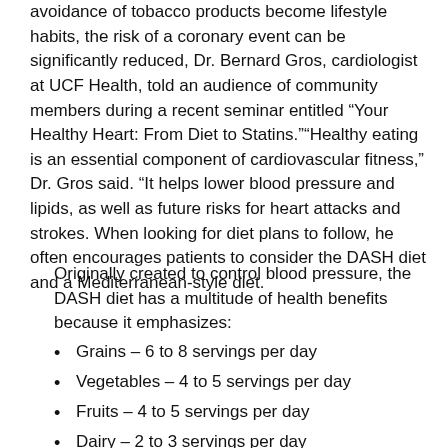avoidance of tobacco products become lifestyle habits, the risk of a coronary event can be significantly reduced, Dr. Bernard Gros, cardiologist at UCF Health, told an audience of community members during a recent seminar entitled “Your Healthy Heart: From Diet to Statins.”“Healthy eating is an essential component of cardiovascular fitness,” Dr. Gros said. “It helps lower blood pressure and lipids, as well as future risks for heart attacks and strokes. When looking for diet plans to follow, he often encourages patients to consider the DASH diet and a Mediterranean-style diet.
Originally created to control blood pressure, the DASH diet has a multitude of health benefits because it emphasizes:
Grains – 6 to 8 servings per day
Vegetables – 4 to 5 servings per day
Fruits – 4 to 5 servings per day
Dairy – 2 to 3 servings per day